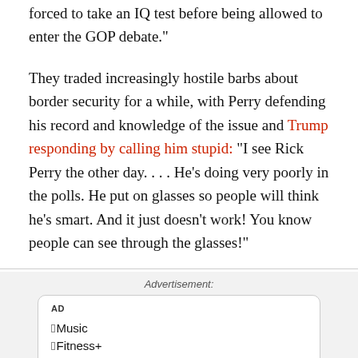forced to take an IQ test before being allowed to enter the GOP debate."
They traded increasingly hostile barbs about border security for a while, with Perry defending his record and knowledge of the issue and Trump responding by calling him stupid: "I see Rick Perry the other day. . . . He's doing very poorly in the polls. He put on glasses so people will think he's smart. And it just doesn't work! You know people can see through the glasses!"
Advertisement:
[Figure (other): Advertisement box with 'AD' label and Apple Music, Fitness+, and TV+ subscription services listed with Apple logos]